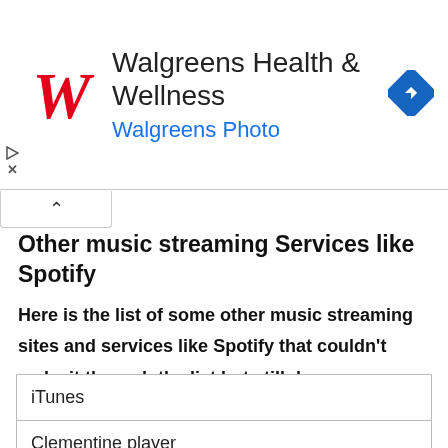[Figure (screenshot): Walgreens Health & Wellness advertisement banner with red Walgreens logo, title text, subtitle 'Walgreens Photo' in blue, and a blue navigation diamond icon on the right. Small play and close (X) controls on the left side.]
Other music streaming Services like Spotify
Here is the list of some other music streaming sites and services like Spotify that couldn't make it through the list but still deserve a mention.
| iTunes |
| Clementine player |